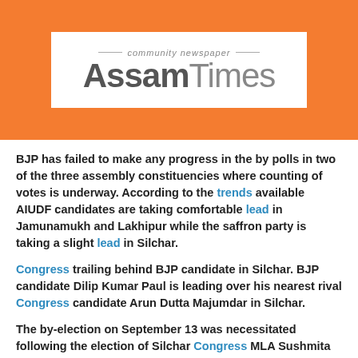[Figure (logo): Assam Times community newspaper logo on orange background]
BJP has failed to make any progress in the by polls in two of the three assembly constituencies where counting of votes is underway. According to the trends available AIUDF candidates are taking comfortable lead in Jamunamukh and Lakhipur while the saffron party is taking a slight lead in Silchar.
Congress trailing behind BJP candidate in Silchar. BJP candidate Dilip Kumar Paul is leading over his nearest rival Congress candidate Arun Dutta Majumdar in Silchar.
The by-election on September 13 was necessitated following the election of Silchar Congress MLA Sushmita Dev and